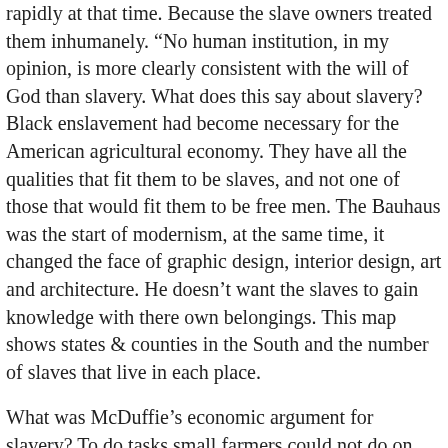rapidly at that time. Because the slave owners treated them inhumanely. “No human institution, in my opinion, is more clearly consistent with the will of God than slavery. What does this say about slavery? Black enslavement had become necessary for the American agricultural economy. They have all the qualities that fit them to be slaves, and not one of those that would fit them to be free men. The Bauhaus was the start of modernism, at the same time, it changed the face of graphic design, interior design, art and architecture. He doesn’t want the slaves to gain knowledge with there own belongings. This map shows states & counties in the South and the number of slaves that live in each place.
What was McDuffie’s economic argument for slavery? To do tasks small farmers could not do on their own. He can own nothing, acquire nothing, but what must belong to another.”.
Afghanistan What does this tell you? Also what would have happened if slavery never existed? God decided to make African Americans slaves when he created them. But NATO stayed